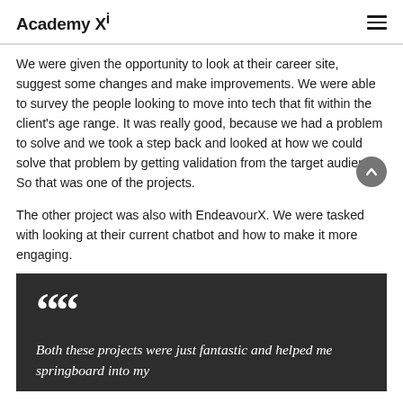Academy Xi
We were given the opportunity to look at their career site, suggest some changes and make improvements. We were able to survey the people looking to move into tech that fit within the client's age range. It was really good, because we had a problem to solve and we took a step back and looked at how we could solve that problem by getting validation from the target audience.  So that was one of the projects.
The other project was also with EndeavourX. We were tasked with looking at their current chatbot and how to make it more engaging.
““Both these projects were just fantastic and helped me springboard into my